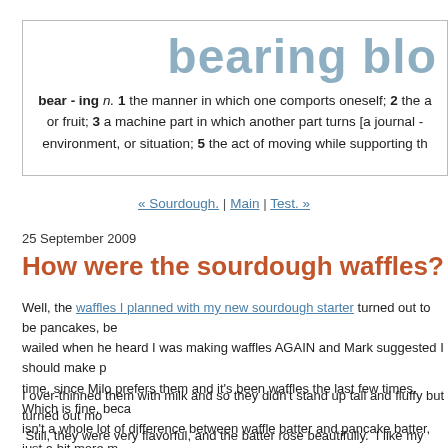bearing blo...
bear - ing n. 1 the manner in which one comports oneself; 2 the a... or fruit; 3 a machine part in which another part turns [a journal -... environment, or situation; 5 the act of moving while supporting th...
« Sourdough. | Main | Test. »
25 September 2009
How were the sourdough waffles?
Well, the waffles I planned with my new sourdough starter turned out to be pancakes, be... wailed when he heard I was making waffles AGAIN and Mark suggested I should make p... time, since Milo prefers them and it's been waffles the last few times. Which is fine, beca... isn't a whole lot of difference between waffle batter and pancake batter, just a bit more m... pancakes and the eggs not separated.
I over-thinned them with milk and so they didn't stand up tall and fluffy but turned out mo...  Still, they were very flavorful, and the batter rose beautifully.  I like my pancakes with no... syrup, but slathered in good-quality local butter;  I think maybe I overdid it a bit this morn...
Sourdough Pancakes
1/2 cup fresh starter*
2 cups warm water
2 and 1/2 cups whole wheat flour
Combine these and set in a warm place until bubbly (several hours). To the batter I dd...